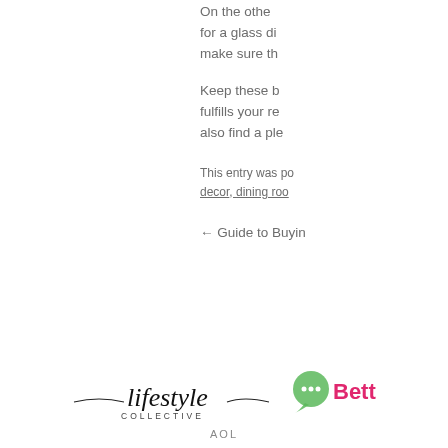On the other hand, if you're looking for a glass dining table, then make sure th...
Keep these b... fulfills your re... also find a ple...
This entry was po... decor, dining roo...
← Guide to Buyin...
[Figure (logo): Lifestyle Collective logo with cursive script and decorative lines, AOL text below]
[Figure (logo): Betta logo with green speech bubble icon and pink text]